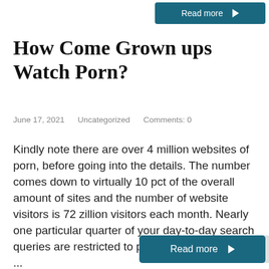[Figure (other): Read more button at top right, teal/dark cyan color with white text and arrow]
How Come Grown ups Watch Porn?
June 17, 2021    Uncategorized    Comments: 0
Kindly note there are over 4 million websites of porn, before going into the details. The number comes down to virtually 10 pct of the overall amount of sites and the number of website visitors is 72 zillion visitors each month. Nearly one particular quarter of your day-to-day search queries are restricted to pornographic websites, ...
[Figure (other): Read more button at bottom right, teal/dark cyan color with white text and arrow]